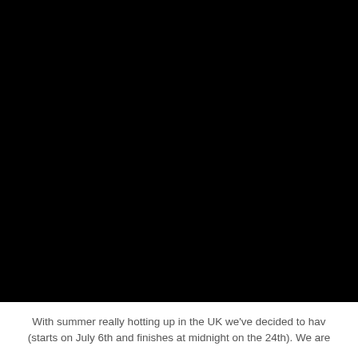[Figure (photo): A large black photograph or dark image occupying the upper portion of the page.]
With summer really hotting up in the UK we've decided to hav (starts on July 6th and finishes at midnight on the 24th). We are